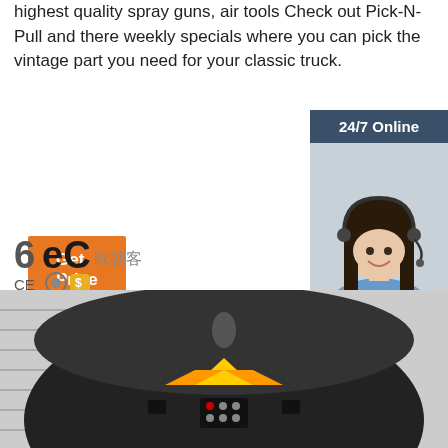highest quality spray guns, air tools Check out Pick-N-Pull and there weekly specials where you can pick the vintage part you need for your classic truck.
Get Price
24/7 Online
[Figure (photo): Woman with headset smiling, customer support photo]
Click here for free chat !
QUOTATION
[Figure (logo): 6EC brand logo with CE and certification icons]
[Figure (photo): Black dome-shaped product (spray booth or similar equipment) viewed from above, with yellow canopy detail and control panel]
[Figure (logo): TOP badge with dotted circular design in bottom right corner]